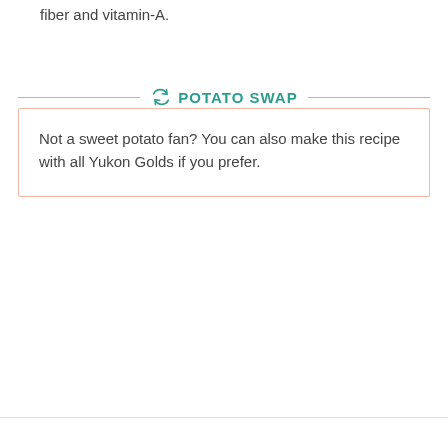fiber and vitamin-A.
POTATO SWAP
Not a sweet potato fan? You can also make this recipe with all Yukon Golds if you prefer.